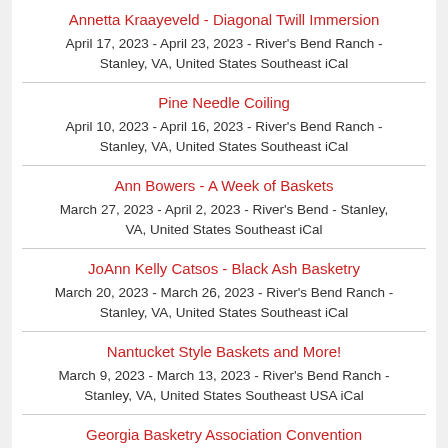Annetta Kraayeveld - Diagonal Twill Immersion
April 17, 2023 - April 23, 2023 - River's Bend Ranch - Stanley, VA, United States Southeast iCal
Pine Needle Coiling
April 10, 2023 - April 16, 2023 - River's Bend Ranch - Stanley, VA, United States Southeast iCal
Ann Bowers - A Week of Baskets
March 27, 2023 - April 2, 2023 - River's Bend - Stanley, VA, United States Southeast iCal
JoAnn Kelly Catsos - Black Ash Basketry
March 20, 2023 - March 26, 2023 - River's Bend Ranch - Stanley, VA, United States Southeast iCal
Nantucket Style Baskets and More!
March 9, 2023 - March 13, 2023 - River's Bend Ranch - Stanley, VA, United States Southeast USA iCal
Georgia Basketry Association Convention